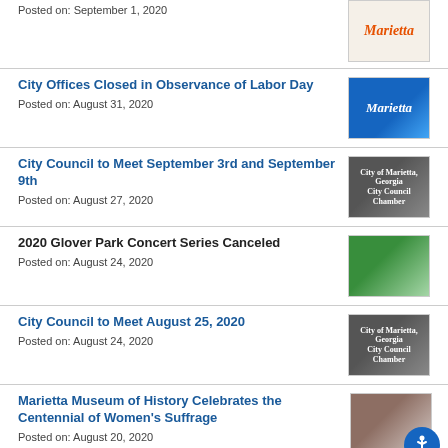Posted on: September 1, 2020
[Figure (photo): Marietta script logo in red/orange on light background]
City Offices Closed in Observance of Labor Day
Posted on: August 31, 2020
[Figure (photo): Marietta city logo on blue background]
City Council to Meet September 3rd and September 9th
Posted on: August 27, 2020
[Figure (photo): City of Marietta, Georgia City Council Chamber sign]
2020 Glover Park Concert Series Canceled
Posted on: August 24, 2020
[Figure (photo): Park pathway with trees and fountain]
City Council to Meet August 25, 2020
Posted on: August 24, 2020
[Figure (photo): City of Marietta, Georgia City Council Chamber sign]
Marietta Museum of History Celebrates the Centennial of Women's Suffrage
Posted on: August 20, 2020
[Figure (photo): Museum building exterior brick facade]